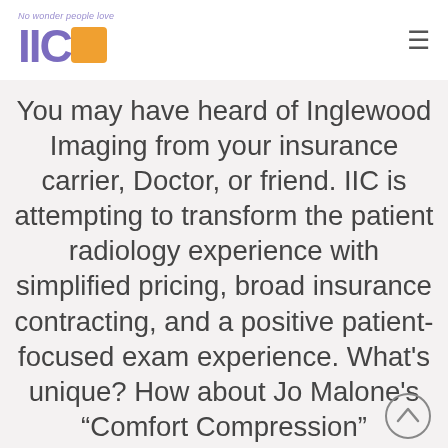No wonder people love IICO
You may have heard of Inglewood Imaging from your insurance carrier, Doctor, or friend. IIC is attempting to transform the patient radiology experience with simplified pricing, broad insurance contracting, and a positive patient-focused exam experience. What's unique? How about Jo Malone's “Comfort Compression”